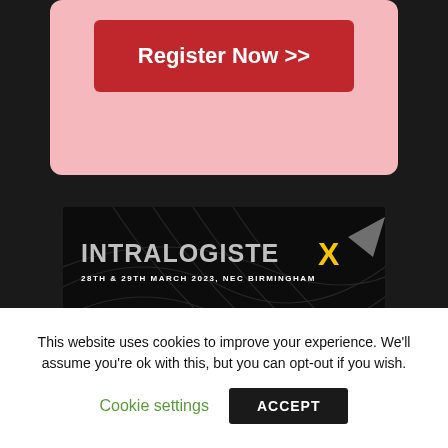[Figure (screenshot): A pink/red rounded box with a dark red 'Register Now >>' button on a dark background]
[Figure (screenshot): IntraLogisteX event banner: dark background with grid lines, logo text 'INTRALOGISTEX' with yellow X, date '28TH & 29TH MARCH 2023, NEC BIRMINGHAM', and yellow bold text reading 'AN UNMISSABLE SHOWCASE OF THE LATEST AND BEST IN INTRALOGISTICS']
This website uses cookies to improve your experience. We'll assume you're ok with this, but you can opt-out if you wish.
Cookie settings   ACCEPT